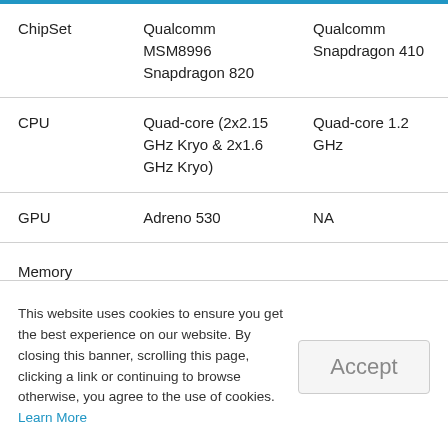|  | Device 1 | Device 2 |
| --- | --- | --- |
| ChipSet | Qualcomm MSM8996 Snapdragon 820 | Qualcomm Snapdragon 410 |
| CPU | Quad-core (2x2.15 GHz Kryo & 2x1.6 GHz Kryo) | Quad-core 1.2 GHz |
| GPU | Adreno 530 | NA |
| Memory |  |  |
This website uses cookies to ensure you get the best experience on our website. By closing this banner, scrolling this page, clicking a link or continuing to browse otherwise, you agree to the use of cookies. Learn More